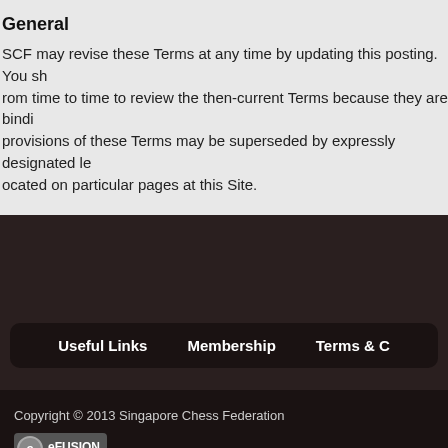General
SCF may revise these Terms at any time by updating this posting. You should visit this Site from time to time to review the then-current Terms because they are binding on you. Certain provisions of these Terms may be superseded by expressly designated legal notices or terms located on particular pages at this Site.
Useful Links   Membership   Terms &
Copyright © 2013 Singapore Chess Federation